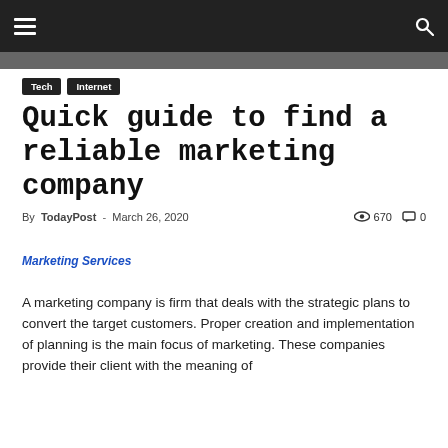≡  [hamburger menu]   [search icon]
Tech  Internet
Quick guide to find a reliable marketing company
By TodayPost - March 26, 2020   👁 670  💬 0
Marketing Services
A marketing company is firm that deals with the strategic plans to convert the target customers. Proper creation and implementation of planning is the main focus of marketing. These companies provide their client with the meaning of